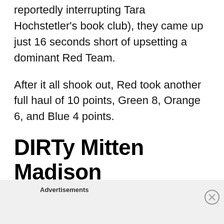reportedly interrupting Tara Hochstetler's book club), they came up just 16 seconds short of upsetting a dominant Red Team.
After it all shook out, Red took another full haul of 10 points, Green 8, Orange 6, and Blue 4 points.
DIRTy Mitten Madison
In a Zwiftied version of the track event, the Madison was all about Team points.
Advertisements